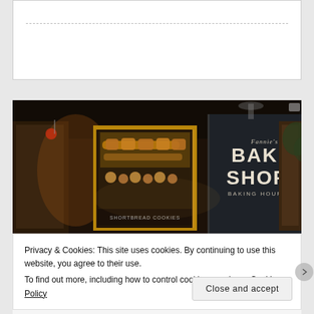[Figure (photo): Exterior of a bake shop storefront at night. Dark blue/grey walls with prominent signage reading 'Bake Shop' and 'Baking Hours.' A display window shows shelves of bread loaves and pastries illuminated with warm light. Wooden door frames visible on right side.]
Privacy & Cookies: This site uses cookies. By continuing to use this website, you agree to their use.
To find out more, including how to control cookies, see here: Cookie Policy
Close and accept